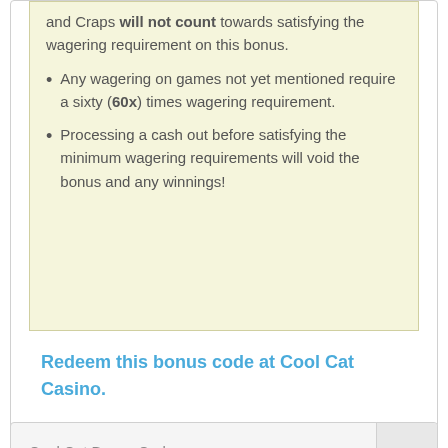and Craps will not count towards satisfying the wagering requirement on this bonus.
Any wagering on games not yet mentioned require a sixty (60x) times wagering requirement.
Processing a cash out before satisfying the minimum wagering requirements will void the bonus and any winnings!
Redeem this bonus code at Cool Cat Casino.
Cool Cat Bonus Code: 1000BONUSEXPLOSION